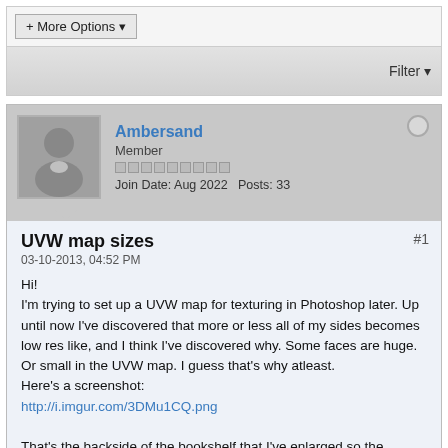+ More Options ▼
Filter ▼
Ambersand
Member
Join Date: Aug 2022   Posts: 33
UVW map sizes
03-10-2013, 04:52 PM
#1
Hi!
I'm trying to set up a UVW map for texturing in Photoshop later. Up until now I've discovered that more or less all of my sides becomes low res like, and I think I've discovered why. Some faces are huge. Or small in the UVW map. I guess that's why atleast.
Here's a screenshot:
http://i.imgur.com/3DMu1CQ.png

That's the backside of the bookshelf that I've enlarged so the texture looks ok, but the problem is that the faces becomes huge and can't fit